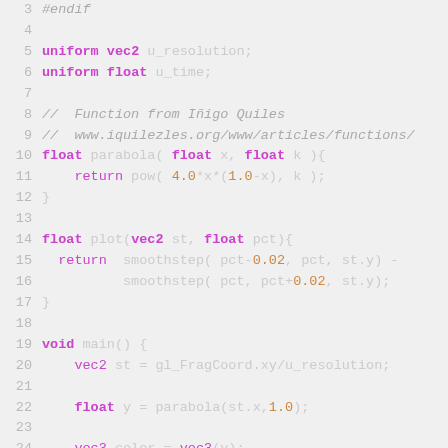Code listing: GLSL shader code lines 3-25
3  #endif
4
5  uniform vec2 u_resolution;
6  uniform float u_time;
7
8  //  Function from Iñigo Quiles
9  //  www.iquilezles.org/www/articles/functions/
10 float parabola( float x, float k ){
11     return pow( 4.0*x*(1.0-x), k );
12 }
13
14 float plot(vec2 st, float pct){
15   return  smoothstep( pct-0.02, pct, st.y) -
16           smoothstep( pct, pct+0.02, st.y);
17 }
18
19 void main() {
20     vec2 st = gl_FragCoord.xy/u_resolution;
21
22     float y = parabola(st.x,1.0);
23
24     vec3 color = vec3(y);
25